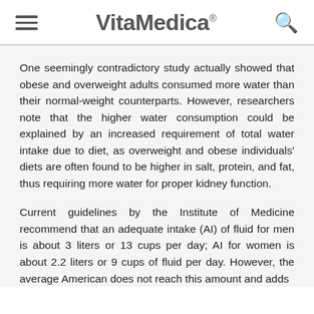VitaMedica®
One seemingly contradictory study actually showed that obese and overweight adults consumed more water than their normal-weight counterparts. However, researchers note that the higher water consumption could be explained by an increased requirement of total water intake due to diet, as overweight and obese individuals' diets are often found to be higher in salt, protein, and fat, thus requiring more water for proper kidney function.
Current guidelines by the Institute of Medicine recommend that an adequate intake (AI) of fluid for men is about 3 liters or 13 cups per day; AI for women is about 2.2 liters or 9 cups of fluid per day. However, the average American does not reach this amount and adds